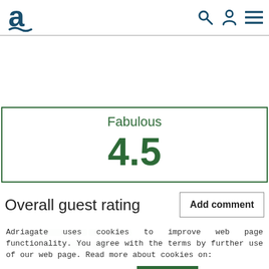[Figure (logo): Adriagate logo: stylized letter 'a' with wave underline in dark teal]
[Figure (infographic): Header icons: search (magnifying glass), user (person silhouette), menu (hamburger lines) in dark teal]
Fabulous
4.5
Overall guest rating
Add comment
Adriagate uses cookies to improve web page functionality. You agree with the terms by further use of our web page. Read more about cookies on:
Privacy Policy
Close
Security
4.8
Beaches
4.4